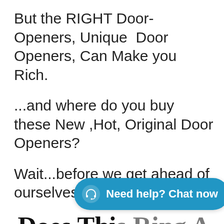But the RIGHT Door-Openers, Unique  Door Openers, Can Make you Rich.
...and where do you buy these New ,Hot, Original Door Openers?
Wait...before we get ahead of ourselves,
Does This Ring A Bell?....
[Figure (other): Blue chat support button overlay reading 'Need help? Chat now' with headset icon]